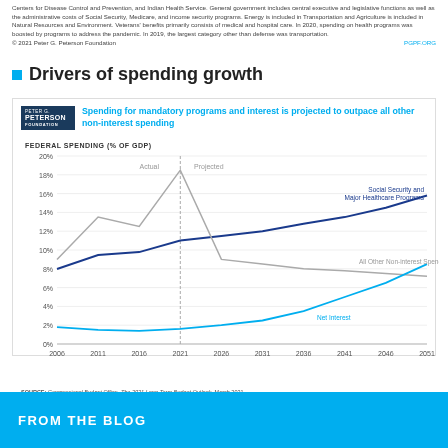Centers for Disease Control and Prevention, and Indian Health Service. General government includes central executive and legislative functions as well as the administrative costs of Social Security, Medicare, and income security programs. Energy is included in Transportation and Agriculture is included in Natural Resources and Environment. Veterans' benefits primarily consists of medical and hospital care. In 2020, spending on health programs was boosted by programs to address the pandemic. In 2019, the largest category other than defense was transportation. © 2021 Peter G. Peterson Foundation  PGPF.ORG
Drivers of spending growth
[Figure (line-chart): Spending for mandatory programs and interest is projected to outpace all other non-interest spending]
SOURCE: Congressional Budget Office, The 2021 Long-Term Budget Outlook, March 2021. NOTE: The major healthcare programs include Medicare (net), Medicaid, the Children's Health Insurance Program, and spending to subsidize health insurance purchased through the marketplaces established under the Affordable Care Act and related spending. © 2021 Peter G. Peterson Foundation  PGPF.ORG
FROM THE BLOG